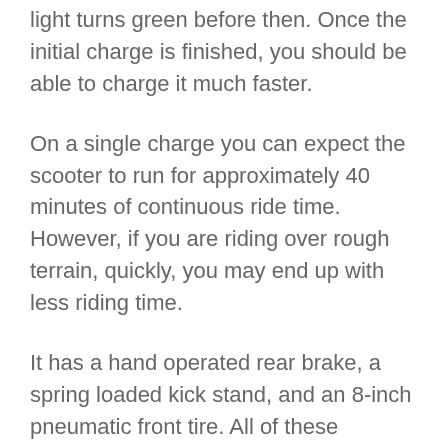light turns green before then. Once the initial charge is finished, you should be able to charge it much faster.
On a single charge you can expect the scooter to run for approximately 40 minutes of continuous ride time. However, if you are riding over rough terrain, quickly, you may end up with less riding time.
It has a hand operated rear brake, a spring loaded kick stand, and an 8-inch pneumatic front tire. All of these features give you the ability to